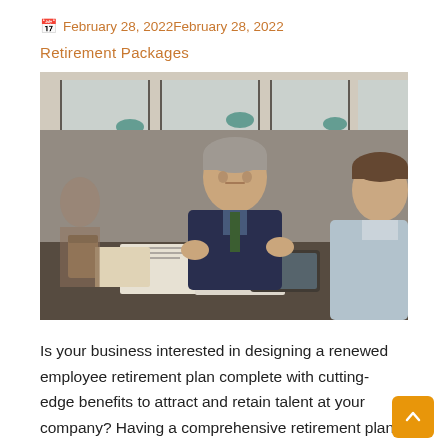📅 February 28, 2022February 28, 2022
Retirement Packages
[Figure (photo): Two men in business meeting at a table with documents; one older man with gray hair gestures with both hands while speaking, the other listens with his back to the camera.]
Is your business interested in designing a renewed employee retirement plan complete with cutting-edge benefits to attract and retain talent at your company? Having a comprehensive retirement plan